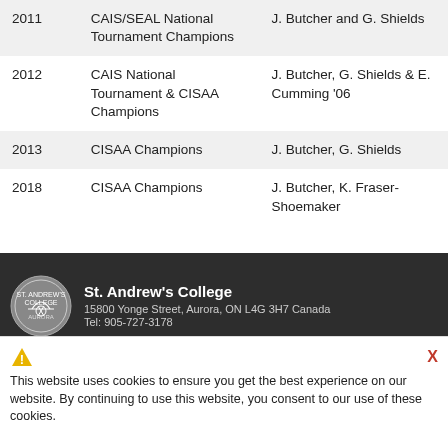| Year | Achievement | Coaches |
| --- | --- | --- |
| 2011 | CAIS/SEAL National Tournament Champions | J. Butcher and G. Shields |
| 2012 | CAIS National Tournament & CISAA Champions | J. Butcher, G. Shields & E. Cumming '06 |
| 2013 | CISAA Champions | J. Butcher, G. Shields |
| 2018 | CISAA Champions | J. Butcher, K. Fraser-Shoemaker |
Back
St. Andrew's College
15800 Yonge Street, Aurora, ON L4G 3H7 Canada
Tel: 905-727-3178
This website uses cookies to ensure you get the best experience on our website. By continuing to use this website, you consent to our use of these cookies.